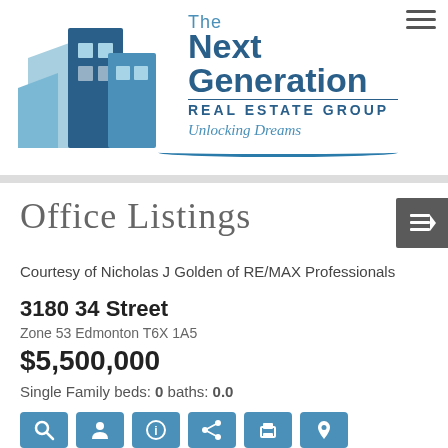[Figure (logo): The Next Generation Real Estate Group logo with blue building graphic and 'Unlocking Dreams' tagline]
Office Listings
Courtesy of Nicholas J Golden of RE/MAX Professionals
3180 34 Street
Zone 53 Edmonton T6X 1A5
$5,500,000
Single Family beds: 0 baths: 0.0